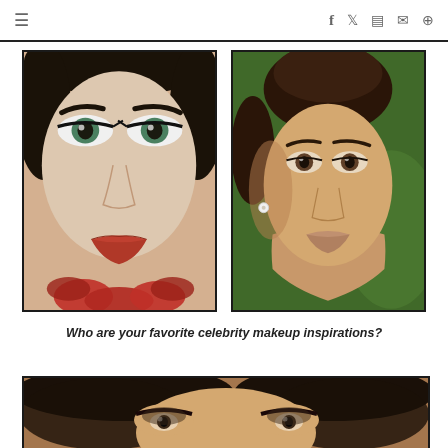≡  f  t  [instagram]  [mail]  [pinterest]
[Figure (photo): Close-up portrait of a woman with dramatic eye makeup, green eyes, dark brows, and red lips holding rose petals]
[Figure (photo): Portrait of a woman with updo hairstyle, natural makeup, wearing earrings]
Who are your favorite celebrity makeup inspirations?
[Figure (photo): Partial face of a woman with smoky eye makeup, close-up showing eyes and brows]